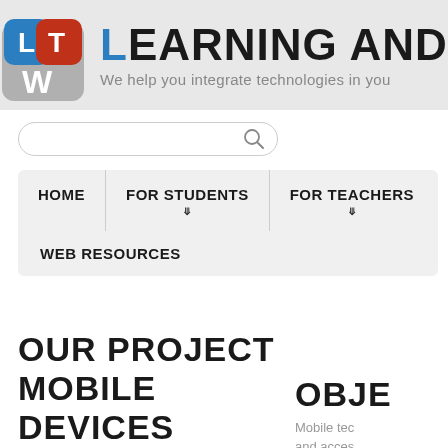[Figure (logo): LTW logo icon with blue L, red T, white W on chat bubble over W letter, and site title 'LEARNING AND TEACH...' with subtitle 'We help you integrate technologies in you...']
[Figure (screenshot): Search input box with magnifying glass icon]
HOME
FOR STUDENTS
FOR TEACHERS
WEB RESOURCES
OUR PROJECT MOBILE DEVICES IN LANGUAGE CLASSROOM: THEORY AND PRACTICE
OBJE
Mobile tec and acces implemen